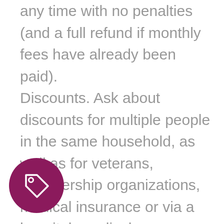any time with no penalties (and a full refund if monthly fees have already been paid). Discounts. Ask about discounts for multiple people in the same household, as well as for veterans, membership organizations, medical insurance or via a hospital, medical or care organization. Ask if the company offers any discount options or a sliding fee scale for people with lower incomes. Insurance. For the most part, Medicare and private insurance companies will not cover the costs of a medical alert. In some states Medicaid may cover all or part of the cost. You can check your private insurance company to see if it offers discounts or referrals.
[Figure (illustration): A dark purple/maroon circle containing a white price tag icon outline]